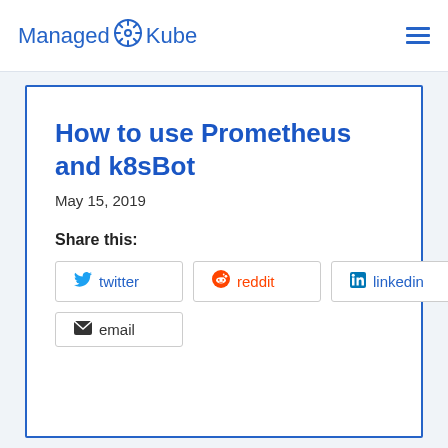ManagedKube
How to use Prometheus and k8sBot
May 15, 2019
Share this:
twitter
reddit
linkedin
email